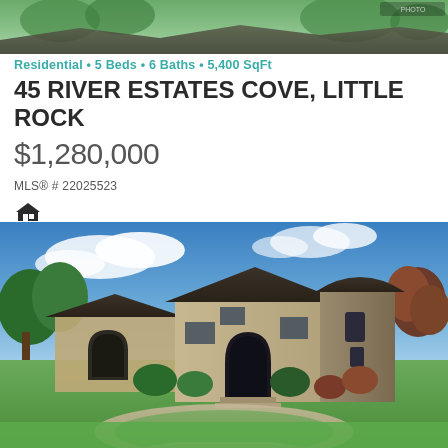[Figure (photo): Aerial or elevated photo of a residential property, partially cropped at top of page showing landscaping and rooftop.]
Residential • 5 Beds • 6 Baths • 5,400 SqFt
45 RIVER ESTATES COVE, LITTLE ROCK
$1,280,000
MLS® # 22025523
[Figure (photo): Exterior photo of a large luxury stone and brick home with dark roof, arched entryway, circular driveway, and manicured lawn under a blue sky with clouds.]